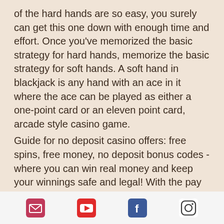of the hard hands are so easy, you surely can get this one down with enough time and effort. Once you've memorized the basic strategy for hard hands, memorize the basic strategy for soft hands. A soft hand in blackjack is any hand with an ace in it where the ace can be played as either a one-point card or an eleven point card, arcade style casino game.
Guide for no deposit casino offers: free spins, free money, no deposit bonus codes - where you can win real money and keep your winnings safe and legal! With the pay anywhere engine and a random multiplier function, huge wins can drop at any time. One of my favorite slots ! Top 5 real money online slots to. Wanna know how to win real money in online casinos for free? best online casino real money no deposit bonus codes
[Figure (infographic): Footer bar with four social media icons: email (envelope on pink/red background), YouTube (play button on red background), Facebook (F on blue background), Instagram (camera outline on white/grey background)]